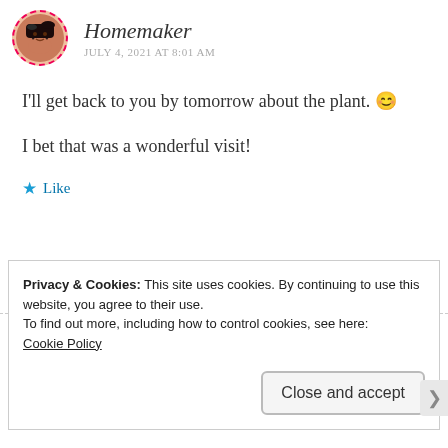Homemaker
JULY 4, 2021 AT 8:01 AM
I'll get back to you by tomorrow about the plant. 😊
I bet that was a wonderful visit!
★ Like
Privacy & Cookies: This site uses cookies. By continuing to use this website, you agree to their use.
To find out more, including how to control cookies, see here:
Cookie Policy
Close and accept